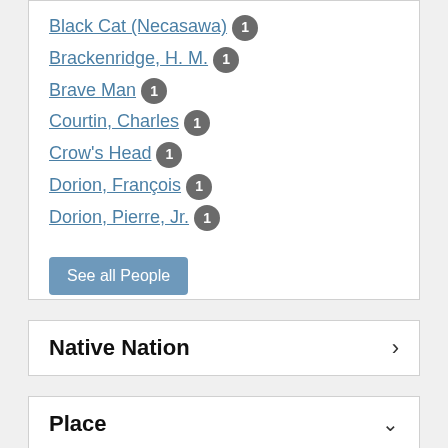Black Cat (Necasawa) 1
Brackenridge, H. M. 1
Brave Man 1
Courtin, Charles 1
Crow's Head 1
Dorion, François 1
Dorion, Pierre, Jr. 1
See all People
Native Nation
Place
Nebraska 3 ✕
Council Bluff (Nebr.) 2